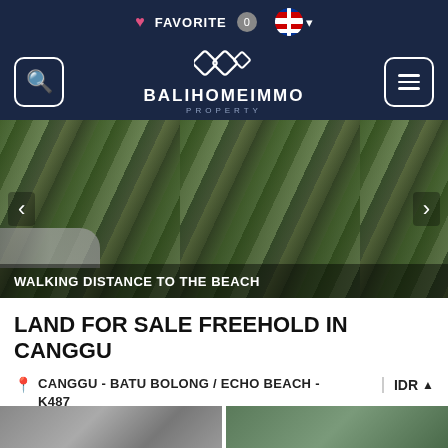FAVORITE 0
[Figure (screenshot): BaliHomeImmo Property website navigation bar with logo, search icon, and hamburger menu on dark navy background]
[Figure (photo): Overgrown land plot with vegetation, walking distance to the beach, with navigation arrows]
WALKING DISTANCE TO THE BEACH
LAND FOR SALE FREEHOLD IN CANGGU
CANGGU - BATU BOLONG / ECHO BEACH - K487
IDR
410 m² land | No splitable
3.452.200.000
Online